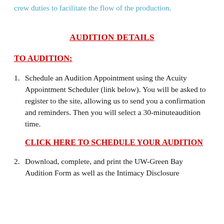crew duties to facilitate the flow of the production.
AUDITION DETAILS
TO AUDITION:
Schedule an Audition Appointment using the Acuity Appointment Scheduler (link below). You will be asked to register to the site, allowing us to send you a confirmation and reminders. Then you will select a 30-minuteaudition time.
CLICK HERE TO SCHEDULE YOUR AUDITION
Download, complete, and print the UW-Green Bay Audition Form as well as the Intimacy Disclosure